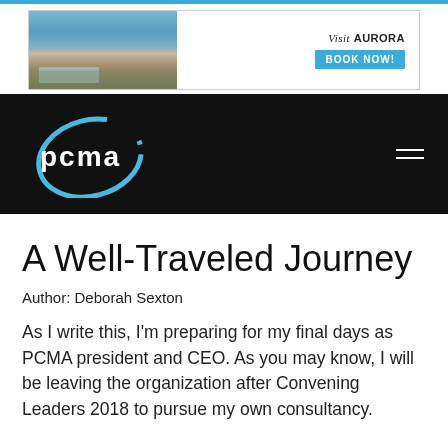[Figure (screenshot): Visit Aurora hotel advertisement banner with photo of resort building and pool on left, 'Visit AURORA' text and 'BOOK NOW!' button on right]
[Figure (logo): PCMA logo on black navigation bar with hamburger menu icon on the right]
A Well-Traveled Journey
Author: Deborah Sexton
As I write this, I'm preparing for my final days as PCMA president and CEO. As you may know, I will be leaving the organization after Convening Leaders 2018 to pursue my own consultancy.